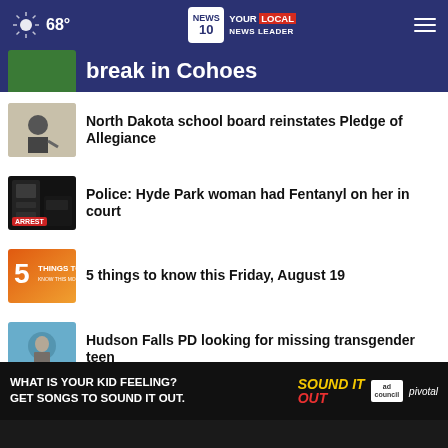68° NEWS10 YOUR LOCAL NEWS LEADER
break in Cohoes
North Dakota school board reinstates Pledge of Allegiance
Police: Hyde Park woman had Fentanyl on her in court
5 things to know this Friday, August 19
Hudson Falls PD looking for missing transgender teen
Nott Street safety improvement project finished early
[Figure (screenshot): Advertisement banner: WHAT IS YOUR KID FEELING? GET SONGS TO SOUND IT OUT. Sound It Out. ad council. pivotal.]